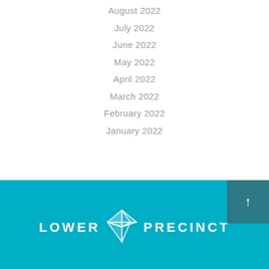August 2022
July 2022
June 2022
May 2022
April 2022
March 2022
February 2022
January 2022
[Figure (logo): Lower Precinct logo with geometric arrow/star icon in white on teal background, with 'LOWER PRECINCT' text in white capital letters]